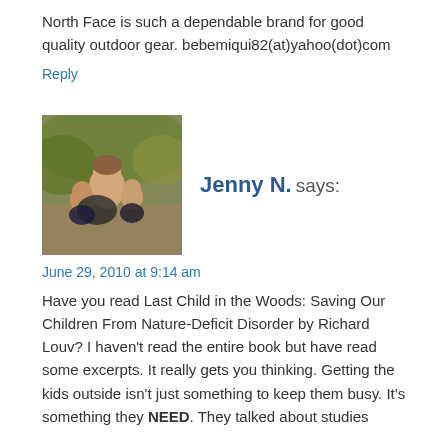North Face is such a dependable brand for good quality outdoor gear. bebemiqui82(at)yahoo(dot)com
Reply
[Figure (photo): Avatar photo of a woman with children outdoors in autumn]
Jenny N. says:
June 29, 2010 at 9:14 am
Have you read Last Child in the Woods: Saving Our Children From Nature-Deficit Disorder by Richard Louv? I haven't read the entire book but have read some excerpts. It really gets you thinking. Getting the kids outside isn't just something to keep them busy. It's something they NEED. They talked about studies